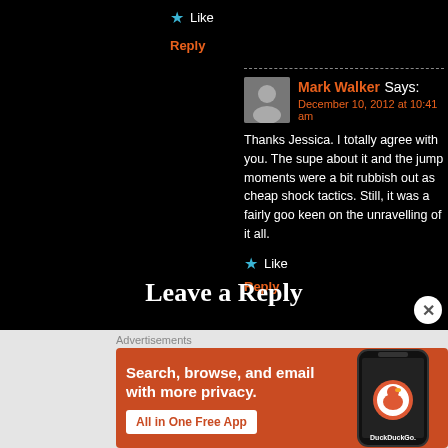★ Like
Reply
Mark Walker Says: December 10, 2012 at 10:41 am
Thanks Jessica. I totally agree with you. The sup... about it and the jump moments were a bit rubbish... out as cheap shock tactics. Still, it was a fairly go... keen on the unravelling of it all.
★ Like
Reply
Leave a Reply
Advertisements
[Figure (screenshot): DuckDuckGo advertisement banner with orange background showing 'Search, browse, and email with more privacy. All in One Free App' text and a phone mockup with DuckDuckGo logo.]